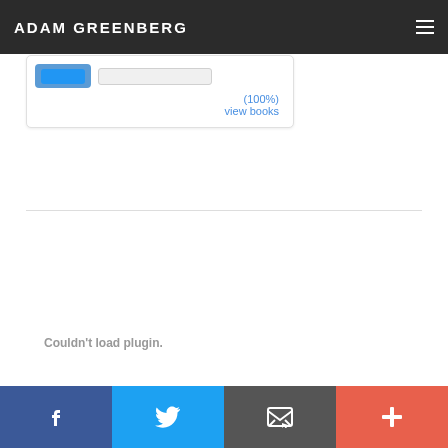ADAM GREENBERG
[Figure (screenshot): Partial screenshot of a book widget card showing a blue button, input field, percentage (100%), and 'view books' link]
Couldn't load plugin.
Social sharing footer bar with Facebook, Twitter, Email, and + icons